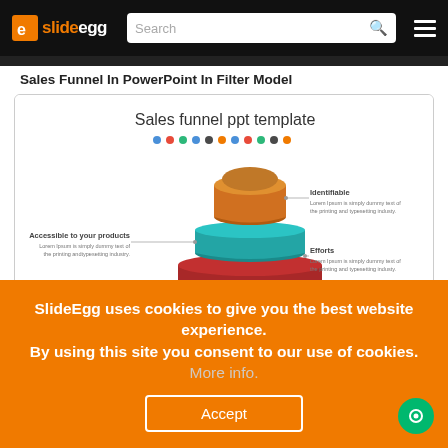slideegg — Search bar with hamburger menu
Sales Funnel In PowerPoint In Filter Model
[Figure (infographic): Sales funnel PPT template showing a 3D layered cone/funnel with four colored tiers: orange (top, Identifiable), teal/blue (Efforts), red/maroon, and green (bottom, Target marketing). Labels with Lorem Ipsum descriptions point to each tier. Title: 'Sales funnel ppt template' with colored dots row below it.]
SlideEgg uses cookies to give you the best website experience. By using this site you consent to our use of cookies. More info.
Accept